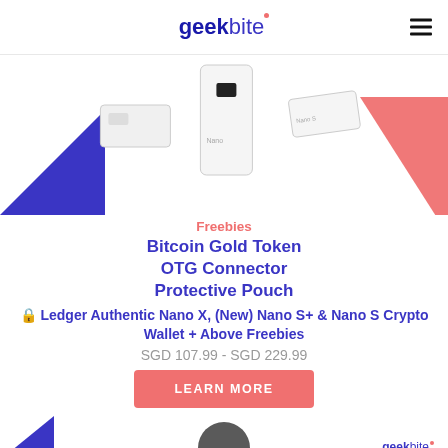geekbite
[Figure (photo): Product photo showing Ledger hardware crypto wallets (white rectangular devices) on a white background with blue triangle lower-left and pink/coral triangle on the right.]
Freebies
Bitcoin Gold Token
OTG Connector
Protective Pouch
🔒 Ledger Authentic Nano X, (New) Nano S+ & Nano S Crypto Wallet + Above Freebies
SGD 107.99 - SGD 229.99
LEARN MORE
[Figure (photo): Bottom preview area showing blue triangle bottom-left, circular dark object in center, and geekbite logo bottom-right.]